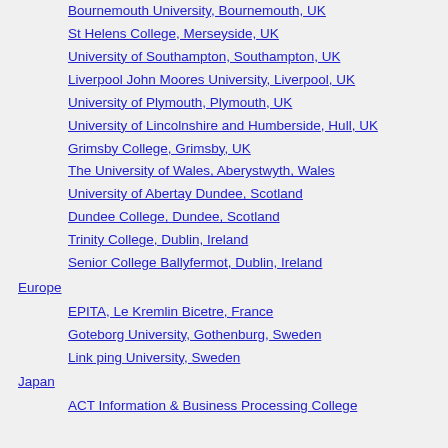Bournemouth University, Bournemouth, UK
St Helens College, Merseyside, UK
University of Southampton, Southampton, UK
Liverpool John Moores University, Liverpool, UK
University of Plymouth, Plymouth, UK
University of Lincolnshire and Humberside, Hull, UK
Grimsby College, Grimsby, UK
The University of Wales, Aberystwyth, Wales
University of Abertay Dundee, Scotland
Dundee College, Dundee, Scotland
Trinity College, Dublin, Ireland
Senior College Ballyfermot, Dublin, Ireland
Europe
EPITA, Le Kremlin Bicetre, France
Goteborg University, Gothenburg, Sweden
Link ping University, Sweden
Japan
ACT Information & Business Processing College